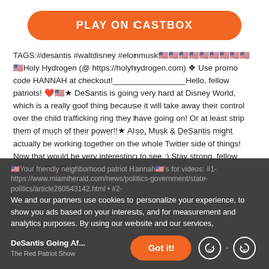[Figure (other): Orange rounded button labeled PLAY ON CASTBOX]
TAGS:#desantis #waltdisney #elonmusk🇺🇸🇺🇸🇺🇸🇺🇸🇺🇸🇺🇸🇺🇸🇺🇸🇺🇸🇺🇸Holy Hydrogen (@ https://holyhydrogen.com) ❖ Use promo code HANNAH at checkout!________________Hello, fellow patriots! ❤️🇺🇸★ DeSantis is going very hard at Disney World, which is a really goof thing because it will take away their control over the child trafficking ring they have going on! Or at least strip them of much of their power!!★ Also, Musk & DeSantis might actually be working together on the whole Twitter side of things! Now that would be very interesting to see :) Stay strong, fellow patriots! 🇺🇸🇺🇸
🇺🇸Your friendly neighborhood patriot Hannah🇺🇸's for videos: #1- https://www.miamiherald.com/news/politics-government/state-politics/article260543142.html • #2-
We and our partners use cookies to personalize your experience, to show you ads based on your interests, and for measurement and analytics purposes. By using our website and our services,
DeSantis Going Af...
The Red Patriot Show